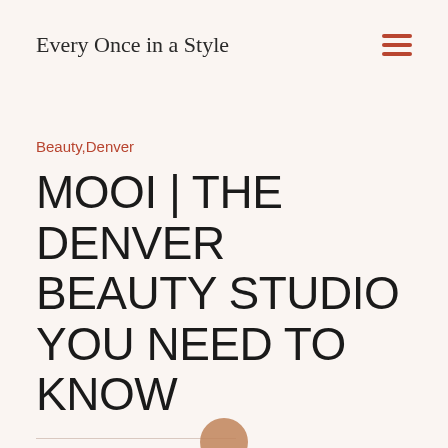Every Once in a Style
Beauty,Denver
MOOI | THE DENVER BEAUTY STUDIO YOU NEED TO KNOW